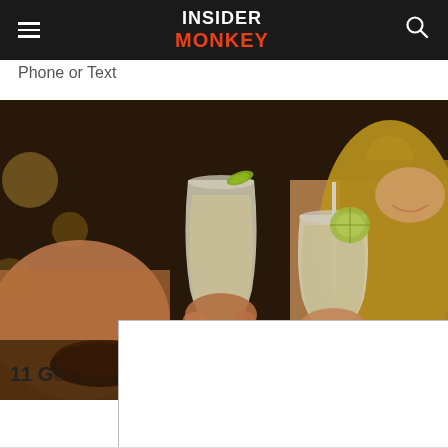Insider Monkey
Phone or Text
[Figure (photo): Two women clinking tall hurricane cocktail glasses garnished with lime/apple slices at a bar or restaurant. Bokeh background with warm amber lighting.]
11 Go
[Figure (screenshot): White advertisement overlay box with a close button (X) in the upper right corner.]